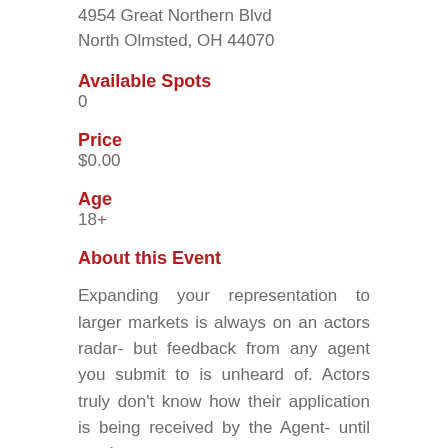4954 Great Northern Blvd
North Olmsted, OH 44070
Available Spots
0
Price
$0.00
Age
18+
About this Event
Expanding your representation to larger markets is always on an actors radar- but feedback from any agent you submit to is unheard of. Actors truly don't know how their application is being received by the Agent- until now!